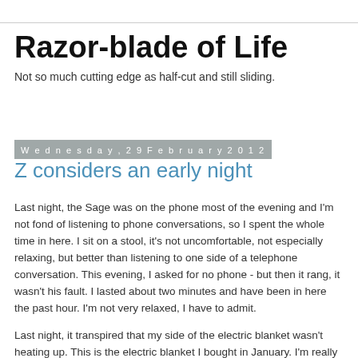Razor-blade of Life
Not so much cutting edge as half-cut and still sliding.
Wednesday, 29 February 2012
Z considers an early night
Last night, the Sage was on the phone most of the evening and I'm not fond of listening to phone conversations, so I spent the whole time in here.  I sit on a stool, it's not uncomfortable, not especially relaxing, but better than listening to one side of a telephone conversation.  This evening, I asked for no phone - but then it rang, it wasn't his fault.  I lasted about two minutes and have been in here the past hour.  I'm not very relaxed, I have to admit.
Last night, it transpired that my side of the electric blanket wasn't heating up.  This is the electric blanket I bought in January.  I'm really not impressed, especially as the same